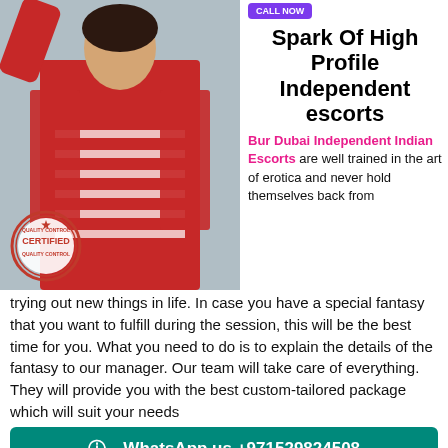[Figure (photo): Young woman in red jacket and striped dress posing, with a CERTIFIED quality control stamp overlay on the lower left of the photo.]
Spark Of High Profile Independent escorts
Bur Dubai Independent Indian Escorts are well trained in the art of erotica and never hold themselves back from trying out new things in life. In case you have a special fantasy that you want to fulfill during the session, this will be the best time for you. What you need to do is to explain the details of the fantasy to our manager. Our team will take care of everything. They will provide you with the best custom-tailored package which will suit your needs
WhatsApp us +971529824508
Being a High Profile Call Girls In Bur Dubai, she